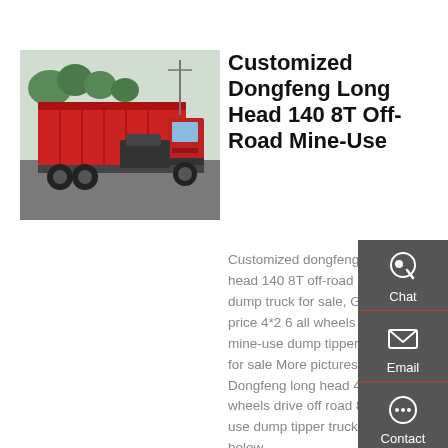[Figure (photo): Red Dongfeng dump truck parked in a lot, side/rear view showing the red cargo bed and cab, trees and other vehicles in background.]
Customized Dongfeng Long Head 140 8T Off-Road Mine-Use
Customized dongfeng long head 140 8T off-road mine-use dump truck for sale, Good price 4*2 6 all wheels drive mine-use dump tipper vehicle for sale More pictures of Dongfeng long head 4*2 6 wheels drive off road 8T mine-use dump tipper truck is as below.